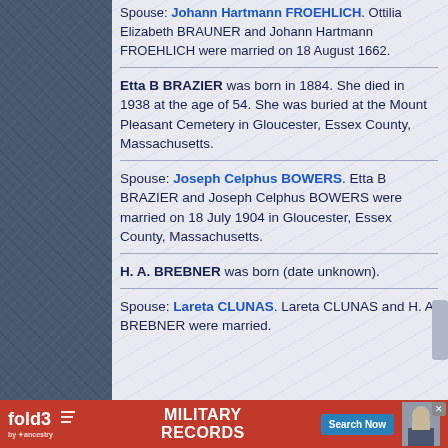Spouse: Johann Hartmann FROEHLICH. Ottilia Elizabeth BRAUNER and Johann Hartmann FROEHLICH were married on 18 August 1662.
Etta B BRAZIER was born in 1884. She died in 1938 at the age of 54. She was buried at the Mount Pleasant Cemetery in Gloucester, Essex County, Massachusetts.
Spouse: Joseph Celphus BOWERS. Etta B BRAZIER and Joseph Celphus BOWERS were married on 18 July 1904 in Gloucester, Essex County, Massachusetts.
H. A. BREBNER was born (date unknown).
Spouse: Lareta CLUNAS. Lareta CLUNAS and H. A. BREBNER were married.
[Figure (screenshot): Advertisement banner for fold3 by Ancestry - Military Records, Search Now button]